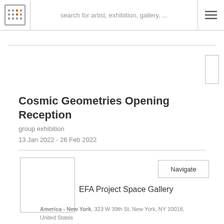search for artist, exhibition, gallery, ...
Cosmic Geometries Opening Reception
group exhibition
13 Jan 2022 - 26 Feb 2022
[Figure (other): Gallery image placeholder (empty white box)]
Navigate
EFA Project Space Gallery
America - New York, 323 W 39th St, New York, NY 10018, United States